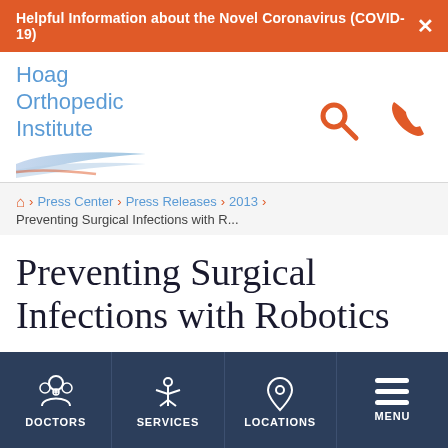Helpful Information about the Novel Coronavirus (COVID-19) ×
[Figure (logo): Hoag Orthopedic Institute logo with blue text and abstract swoosh graphic, plus search and phone icons]
🏠 > Press Center > Press Releases > 2013 > Preventing Surgical Infections with R...
Preventing Surgical Infections with Robotics
DOCTORS   SERVICES   LOCATIONS   MENU